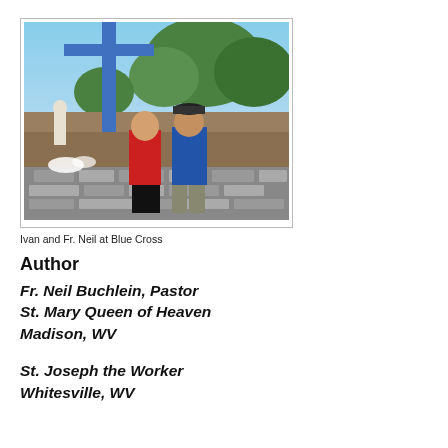[Figure (photo): Two men standing in front of a blue cross outdoors, with trees and hillside in background, a statue and flowers visible to the left]
Ivan and Fr. Neil at Blue Cross
Author
Fr. Neil Buchlein, Pastor
St. Mary Queen of Heaven
Madison, WV
St. Joseph the Worker
Whitesville, WV